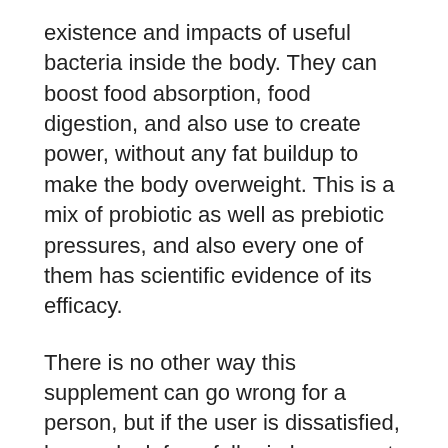existence and impacts of useful bacteria inside the body. They can boost food absorption, food digestion, and also use to create power, without any fat buildup to make the body overweight. This is a mix of probiotic as well as prebiotic pressures, and also every one of them has scientific evidence of its efficacy.
There is no other way this supplement can go wrong for a person, but if the user is dissatisfied, he can look for a full reimbursement within 180 days of acquisition. If you have made a decision to give it a try, do not assume any longer as well as visit the main site today to validate the orders. The stock is selling quickly, as well as it may finish quickly. Purchase LeanBiome while it is still readily